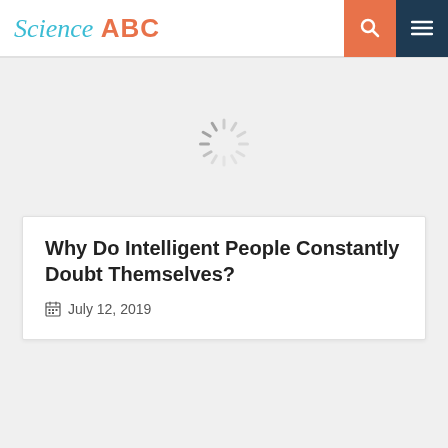Science ABC
[Figure (other): Loading spinner animation (circular dashed loading indicator)]
Why Do Intelligent People Constantly Doubt Themselves?
July 12, 2019